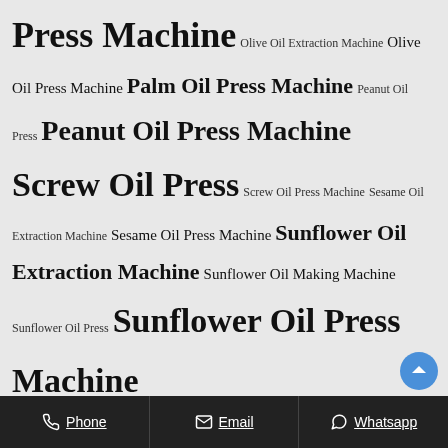Press Machine Olive Oil Extraction Machine Olive Oil Press Machine Palm Oil Press Machine Peanut Oil Press Peanut Oil Press Machine Screw Oil Press Screw Oil Press Machine Sesame Oil Extraction Machine Sesame Oil Press Machine Sunflower Oil Extraction Machine Sunflower Oil Making Machine Sunflower Oil Press Sunflower Oil Press Machine
RECENT POSTS
Efficient Palm Oil Crystallizer
Phone  Email  Whatsapp